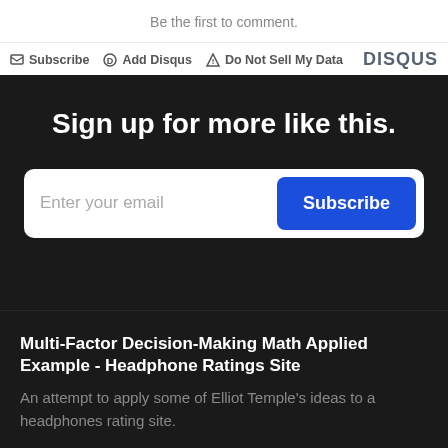Be the first to comment.
Subscribe  Add Disqus  Do Not Sell My Data  DISQUS
Sign up for more like this.
Enter your email  Subscribe
Multi-Factor Decision-Making Math Applied Example - Headphone Ratings Site
An attempt to apply some of Elliot Temple's ideas to a headphones rating site.